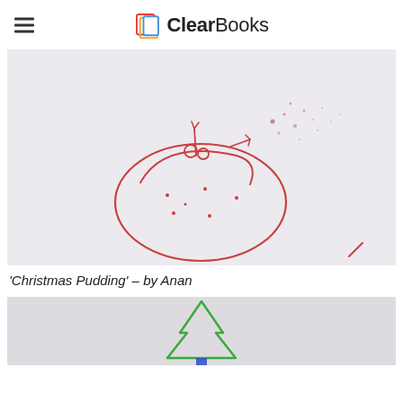ClearBooks
[Figure (illustration): Child's red marker drawing of a Christmas pudding on white paper — a rounded dome shape with decorative top (holly/stem) and small dots scattered across it.]
'Christmas Pudding' – by Anan
[Figure (illustration): Partial view of another child's drawing — a green Christmas tree shape visible at the bottom of the page.]